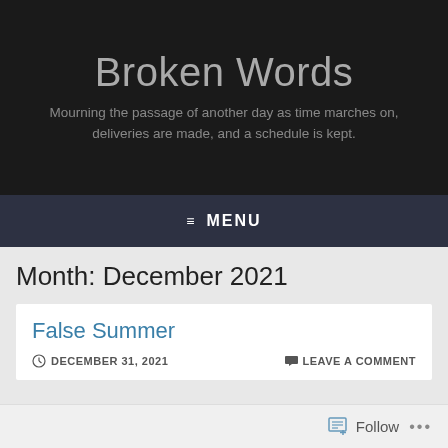Broken Words
Mourning the passage of another day as time marches on, deliveries are made, and a schedule is kept.
≡ MENU
Month: December 2021
False Summer
DECEMBER 31, 2021    LEAVE A COMMENT
Follow ...